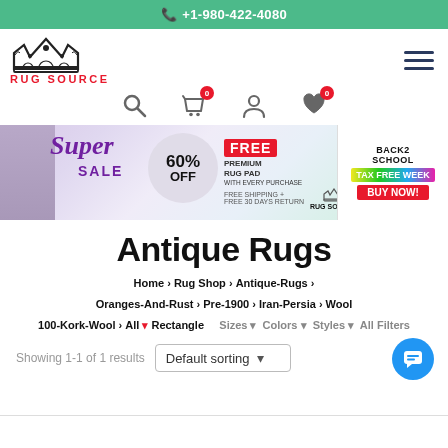+1-980-422-4080
[Figure (logo): Rug Source logo with crown and red text]
[Figure (infographic): Super Sale banner: 60% OFF, FREE Premium Rug Pad, Back2School Tax Free Week, Buy Now]
Antique Rugs
Home > Rug Shop > Antique-Rugs > Oranges-And-Rust > Pre-1900 > Iran-Persia > Wool
100-Kork-Wool > All > Rectangle
Sizes | Colors | Styles | All Filters
Showing 1-1 of 1 results   Default sorting